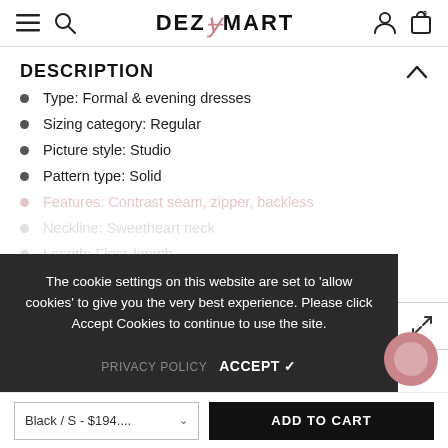DEZ MART — navigation bar with menu, search, logo, account, cart icons
DESCRIPTION
Type: Formal & evening dresses
Sizing category: Regular
Picture style: Studio
Pattern type: Solid
Features: Contrast seam, zipper, backless
Neckline: Sweetheart neck
Length: Floor-length
The cookie settings on this website are set to 'allow cookies' to give you the very best experience. Please click Accept Cookies to continue to use the site.
PRIVACY POLICY   ACCEPT ✓
Black / S - $194....   ADD TO CART